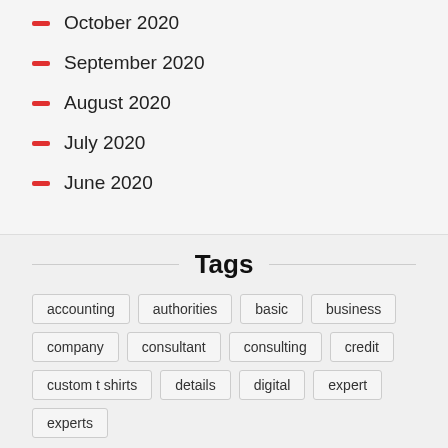October 2020
September 2020
August 2020
July 2020
June 2020
Tags
accounting
authorities
basic
business
company
consultant
consulting
credit
custom t shirts
details
digital
expert
experts